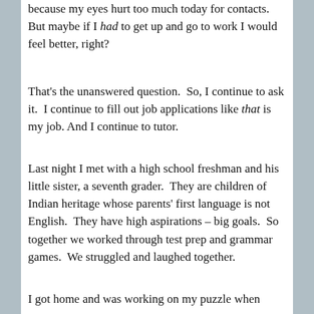because my eyes hurt too much today for contacts. But maybe if I had to get up and go to work I would feel better, right?
That's the unanswered question.  So, I continue to ask it.  I continue to fill out job applications like that is my job. And I continue to tutor.
Last night I met with a high school freshman and his little sister, a seventh grader.  They are children of Indian heritage whose parents' first language is not English.  They have high aspirations – big goals.  So together we worked through test prep and grammar games.  We struggled and laughed together.
I got home and was working on my puzzle when